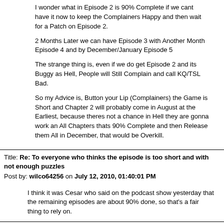I wonder what in Episode 2 is 90% Complete if we cant have it now to keep the Complainers Happy and then wait for a Patch on Episode 2.
2 Months Later we can have Episode 3 with Another Month Episode 4 and by December/January Episode 5
The strange thing is, even if we do get Episode 2 and its Buggy as Hell, People will Still Complain and call KQ/TSL Bad.
So my Advice is, Button your Lip (Complainers) the Game is Short and Chapter 2 will probably come in August at the Earliest, because theres not a chance in Hell they are gonna work an All Chapters thats 90% Complete and then Release them All in December, that would be Overkill.
Title: Re: To everyone who thinks the episode is too short and with not enough puzzles
Post by: wilco64256 on July 12, 2010, 01:40:01 PM
I think it was Cesar who said on the podcast show yesterday that the remaining episodes are about 90% done, so that's a fair thing to rely on.
Title: Re: To everyone who thinks the episode is too short and with not enough puzzles
Post by: Darkbulb on July 12, 2010, 01:56:00 PM